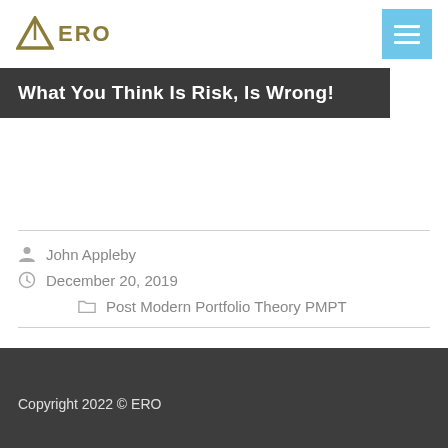ERO
What You Think Is Risk, Is Wrong!
John Appleby
December 20, 2019
Post Modern Portfolio Theory PMPT
Copyright 2022 © ERO